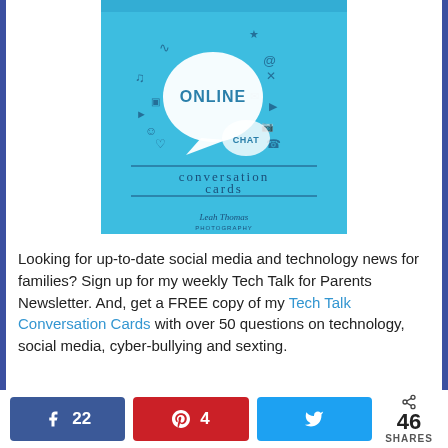[Figure (illustration): Tech Talk Conversation Cards book cover on blue background, featuring online/chat bubble icons and decorative technology-themed doodles, text reading 'conversation cards' and 'Online', 'Chat' speech bubbles]
Looking for up-to-date social media and technology news for families? Sign up for my weekly Tech Talk for Parents Newsletter. And, get a FREE copy of my Tech Talk Conversation Cards with over 50 questions on technology, social media, cyber-bullying and sexting.
22 [Facebook share] | 4 [Pinterest share] | [Twitter share] | < 46 SHARES